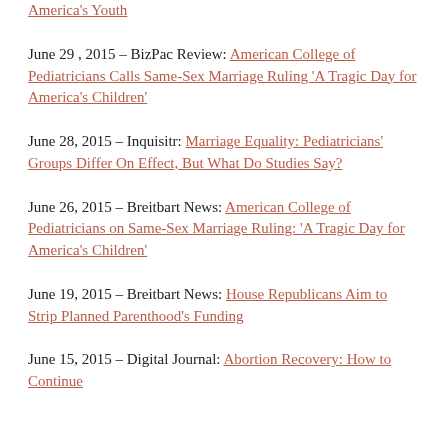America's Youth
June 29 , 2015 – BizPac Review: American College of Pediatricians Calls Same-Sex Marriage Ruling 'A Tragic Day for America's Children'
June 28, 2015 – Inquisitr: Marriage Equality: Pediatricians' Groups Differ On Effect, But What Do Studies Say?
June 26, 2015 – Breitbart News: American College of Pediatricians on Same-Sex Marriage Ruling: 'A Tragic Day for America's Children'
June 19, 2015 – Breitbart News: House Republicans Aim to Strip Planned Parenthood's Funding
June 15, 2015 – Digital Journal: Abortion Recovery: How to Continue